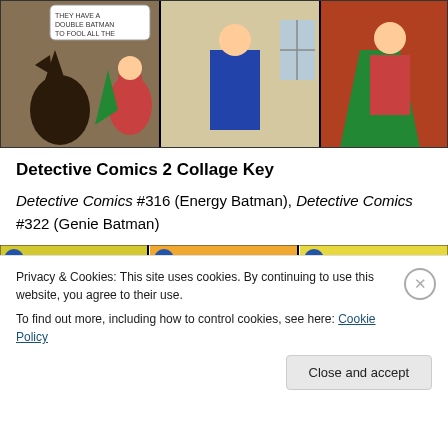[Figure (illustration): Comic book collage showing Batman and Robin in action scenes from Detective Comics]
Detective Comics 2 Collage Key
Detective Comics #316 (Energy Batman), Detective Comics #322 (Genie Batman)
[Figure (illustration): Three World's Finest comic book covers showing Mirror Batman, Transformed Batman, and Captured Costume stories]
Privacy & Cookies: This site uses cookies. By continuing to use this website, you agree to their use.
To find out more, including how to control cookies, see here: Cookie Policy